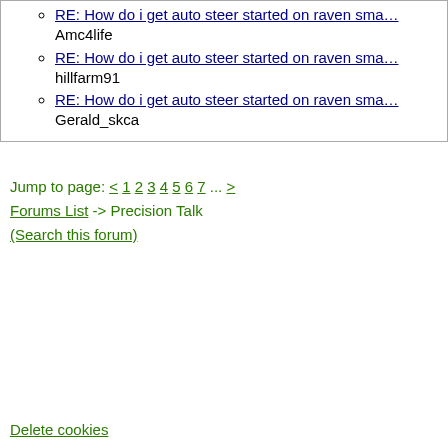RE: How do i get auto steer started on raven smartrax - Amc4life
RE: How do i get auto steer started on raven smartrax - hillfarm91
RE: How do i get auto steer started on raven smartrax - Gerald_skca
Jump to page: < 1 2 3 4 5 6 7 ... >
Forums List -> Precision Talk
(Search this forum)
Delete cookies